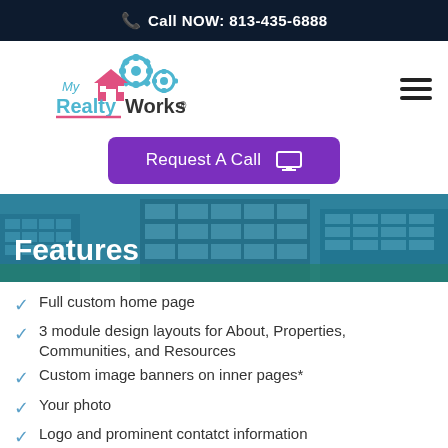Call NOW: 813-435-6888
[Figure (logo): My RealtyWorks logo with house and gear icons in pink and teal]
Request A Call
[Figure (photo): City office buildings banner with teal overlay]
Features
Full custom home page
3 module design layouts for About, Properties, Communities, and Resources
Custom image banners on inner pages*
Your photo
Logo and prominent contatct information
Your real estate company page